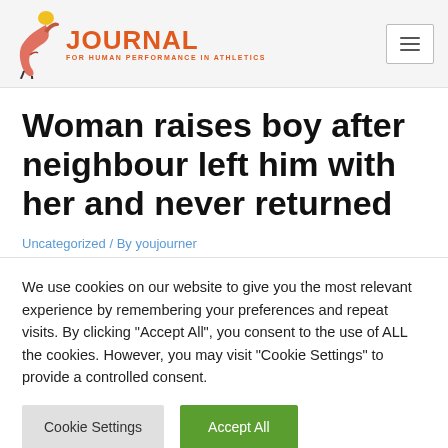JOURNAL FOR HUMAN PERFORMANCE IN ATHLETICS
Woman raises boy after neighbour left him with her and never returned
Uncategorized / By youjourner
We use cookies on our website to give you the most relevant experience by remembering your preferences and repeat visits. By clicking "Accept All", you consent to the use of ALL the cookies. However, you may visit "Cookie Settings" to provide a controlled consent.
Cookie Settings | Accept All